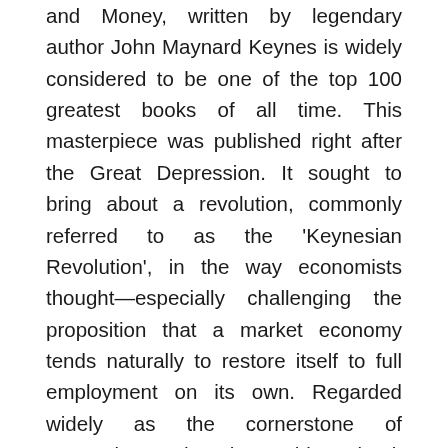and Money, written by legendary author John Maynard Keynes is widely considered to be one of the top 100 greatest books of all time. This masterpiece was published right after the Great Depression. It sought to bring about a revolution, commonly referred to as the 'Keynesian Revolution', in the way economists thought—especially challenging the proposition that a market economy tends naturally to restore itself to full employment on its own. Regarded widely as the cornerstone of Keynesian thought, this book challenged the established classical economics and introduced new concepts. 'The General Theory of Employment, Interest, and Money' transformed economics and changed the face of modern macroeconomics. Keynes' argument is based on the idea that the level of employment is not determined by the price of